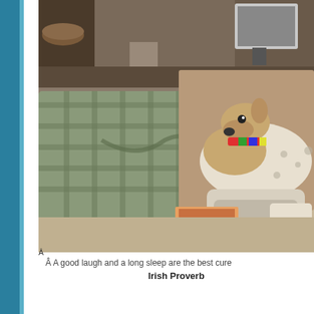[Figure (photo): A greyhound dog with a colorful collar lying on the floor next to a large plaid cushion/pillow, with a fireplace hearth visible in the background. The dog is white with brown/tan markings and is resting with its legs stretched out.]
Â A good laugh and a long sleep are the best cure
Irish Proverb